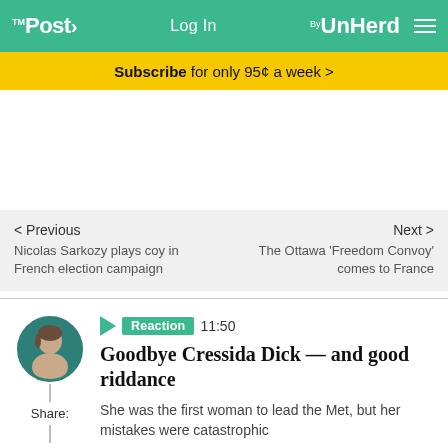The Post by UnHerd — Log In
Subscribe for only 95¢ a week >
< Previous
Nicolas Sarkozy plays coy in French election campaign
Next >
The Ottawa 'Freedom Convoy' comes to France
Reaction  11:50
Goodbye Cressida Dick — and good riddance
She was the first woman to lead the Met, but her mistakes were catastrophic
BY JULIE BINDEL